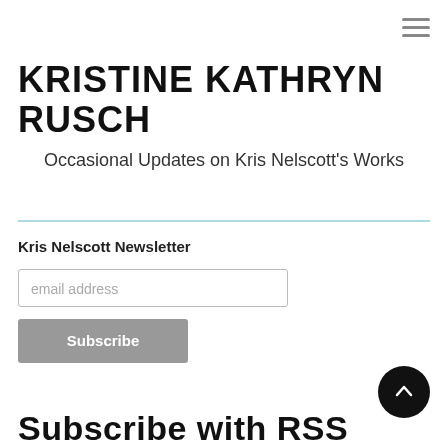≡
KRISTINE KATHRYN RUSCH
Occasional Updates on Kris Nelscott's Works
Kris Nelscott Newsletter
email address
Subscribe
Subscribe with RSS